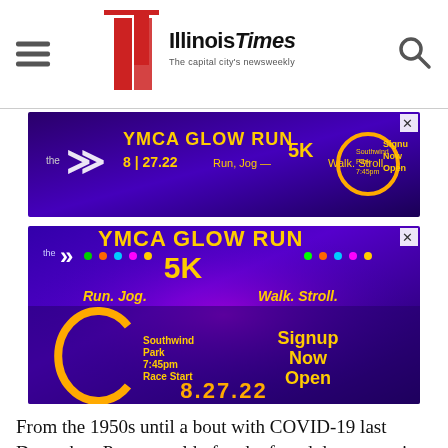Illinois Times - The capital city's newsweekly
[Figure (photo): YMCA Glow Run advertisement banner - small version. Purple/blue neon background with people glowing, text: YMCA GLOW RUN 8.27.22 Run. Jog. - 5K Walk. Stroll. Southwind Park 7:45pm Race Start Signup Now Open]
[Figure (photo): YMCA Glow Run advertisement - large version. Purple/blue neon background with group of people glowing in the dark, text: the Y YMCA GLOW RUN 5K Run. Jog. Walk. Stroll. Southwind Park 7:45pm Race Start Signup Now Open 8.27.22]
From the 1950s until a bout with COVID-19 last December, Peggy could often be found demonstrating — making speeches...